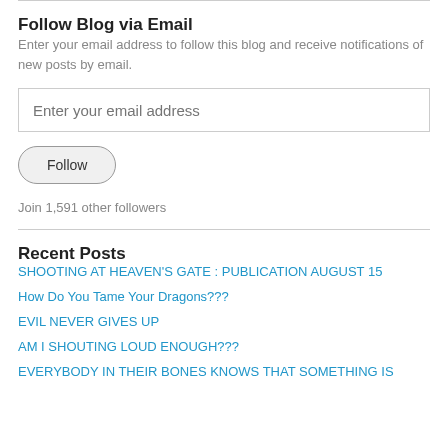Follow Blog via Email
Enter your email address to follow this blog and receive notifications of new posts by email.
Enter your email address
Follow
Join 1,591 other followers
Recent Posts
SHOOTING AT HEAVEN'S GATE : PUBLICATION AUGUST 15
How Do You Tame Your Dragons???
EVIL NEVER GIVES UP
AM I SHOUTING LOUD ENOUGH???
EVERYBODY IN THEIR BONES KNOWS THAT SOMETHING IS